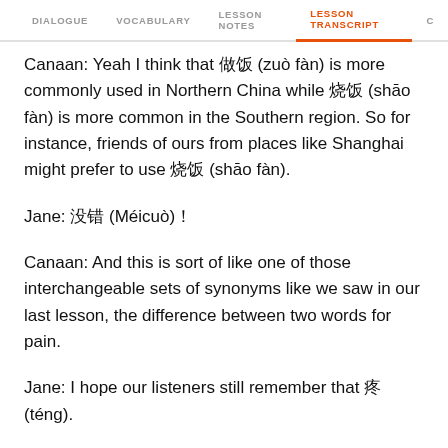DIALOGUE  VOCABULARY  LESSON NOTES  LESSON TRANSCRIPT  C
Canaan: Yeah I think that 做饭 (zuò fàn) is more commonly used in Northern China while 烧饭 (shāo fàn) is more common in the Southern region. So for instance, friends of ours from places like Shanghai might prefer to use 烧饭 (shāo fàn).
Jane: 没错 (Méicuò)！
Canaan: And this is sort of like one of those interchangeable sets of synonyms like we saw in our last lesson, the difference between two words for pain.
Jane: I hope our listeners still remember that 疼 (téng).
Canaan: And
Jane: 痛 (tòng)